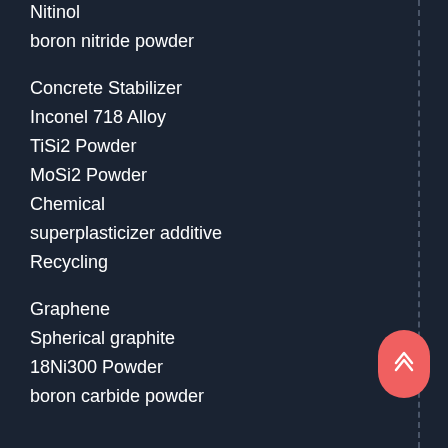Nitinol
boron nitride powder
Concrete Stabilizer
Inconel 718 Alloy
TiSi2 Powder
MoSi2 Powder
Chemical
superplasticizer additive
Recycling
Graphene
Spherical graphite
18Ni300 Powder
boron carbide powder